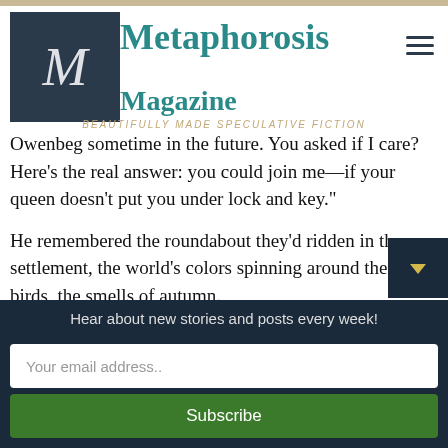Metaphorosis Magazine
Owenbeg sometime in the future. You asked if I care? Here’s the real answer: you could join me—if your queen doesn’t put you under lock and key.”
He remembered the roundabout they’d ridden in the settlement, the world’s colors spinning around them, the birds, the smells of autumn.
“I think I’m falling in love with you.”
“Be careful, then,” she said and closed the door behind her.
Hear about new stories and posts every week!
Your email address..
Subscribe